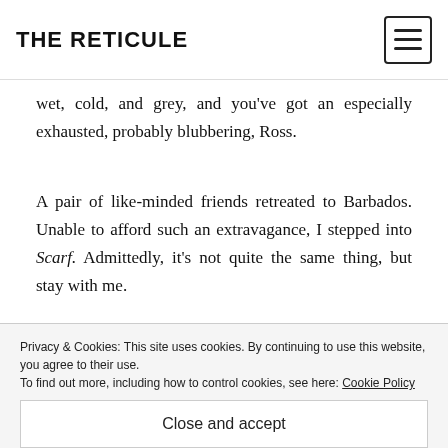THE RETICULE
wet, cold, and grey, and you've got an especially exhausted, probably blubbering, Ross.
A pair of like-minded friends retreated to Barbados. Unable to afford such an extravagance, I stepped into Scarf. Admittedly, it's not quite the same thing, but stay with me.
. . .
Privacy & Cookies: This site uses cookies. By continuing to use this website, you agree to their use.
To find out more, including how to control cookies, see here: Cookie Policy
Close and accept